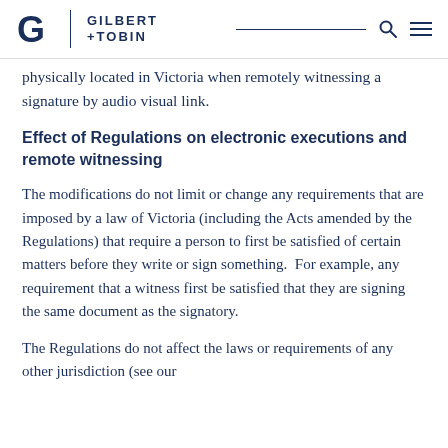Gilbert + Tobin
physically located in Victoria when remotely witnessing a signature by audio visual link.
Effect of Regulations on electronic executions and remote witnessing
The modifications do not limit or change any requirements that are imposed by a law of Victoria (including the Acts amended by the Regulations) that require a person to first be satisfied of certain matters before they write or sign something.  For example, any requirement that a witness first be satisfied that they are signing the same document as the signatory.
The Regulations do not affect the laws or requirements of any other jurisdiction (see our